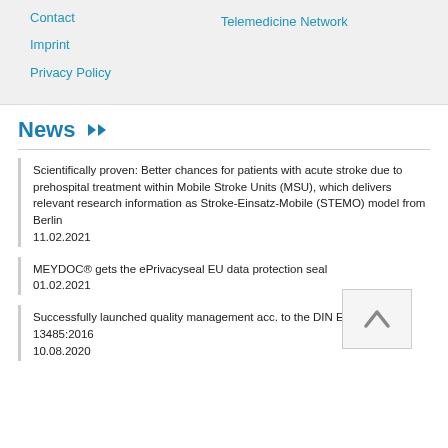Contact
Telemedicine Network
Imprint
Privacy Policy
News ▶▶
Scientifically proven: Better chances for patients with acute stroke due to prehospital treatment within Mobile Stroke Units (MSU), which delivers relevant research information as Stroke-Einsatz-Mobile (STEMO) model from Berlin
11.02.2021
MEYDOC® gets the ePrivacyseal EU data protection seal
01.02.2021
Successfully launched quality management acc. to the DIN EN ISO 13485:2016
10.08.2020